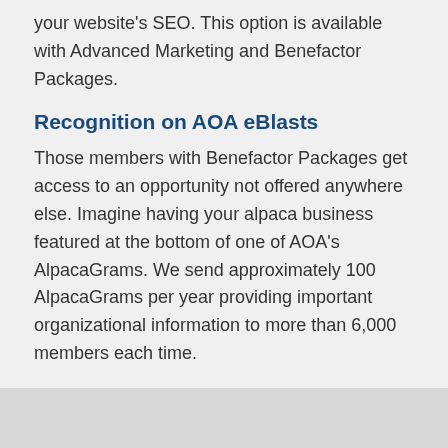your website's SEO. This option is available with Advanced Marketing and Benefactor Packages.
Recognition on AOA eBlasts
Those members with Benefactor Packages get access to an opportunity not offered anywhere else. Imagine having your alpaca business featured at the bottom of one of AOA's AlpacaGrams. We send approximately 100 AlpacaGrams per year providing important organizational information to more than 6,000 members each time.